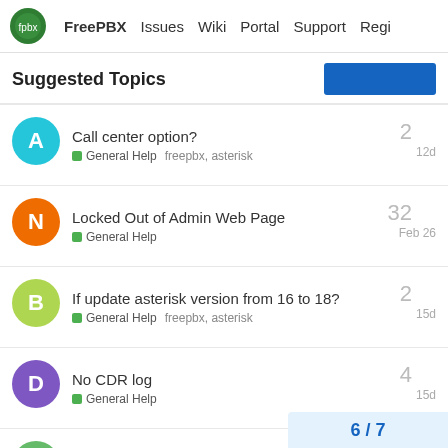FreePBX  Issues  Wiki  Portal  Support  Regi
Suggested Topics
Call center option? — General Help — freepbx, asterisk — 2 replies — 12d
Locked Out of Admin Web Page — General Help — 32 replies — Feb 26
If update asterisk version from 16 to 18? — General Help — freepbx, asterisk — 2 replies — 15d
No CDR log — General Help — 4 replies — 15d
FreePBX14 Slow saving extension — General Help — 11 replies
6 / 7